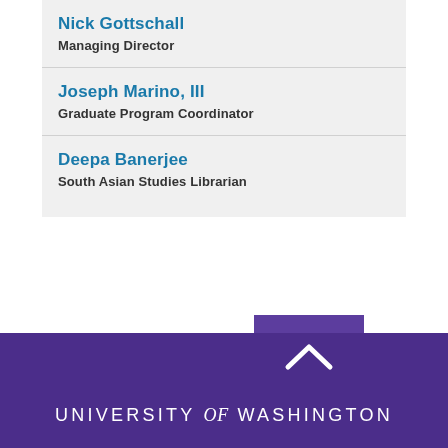Nick Gottschall
Managing Director
Joseph Marino, III
Graduate Program Coordinator
Deepa Banerjee
South Asian Studies Librarian
UNIVERSITY of WASHINGTON